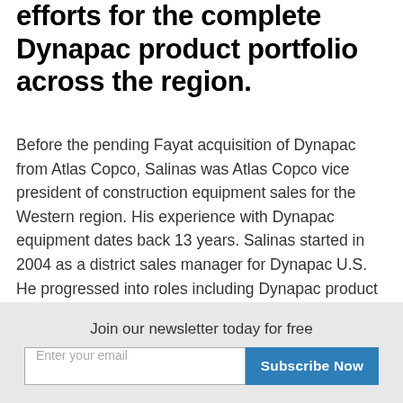efforts for the complete Dynapac product portfolio across the region.
Before the pending Fayat acquisition of Dynapac from Atlas Copco, Salinas was Atlas Copco vice president of construction equipment sales for the Western region. His experience with Dynapac equipment dates back 13 years. Salinas started in 2004 as a district sales manager for Dynapac U.S. He progressed into roles including Dynapac product manager, Atlas Copco business development manager for used equipment, and Atlas Copco Western region sales manager for the
Join our newsletter today for free
Enter your email
Subscribe Now